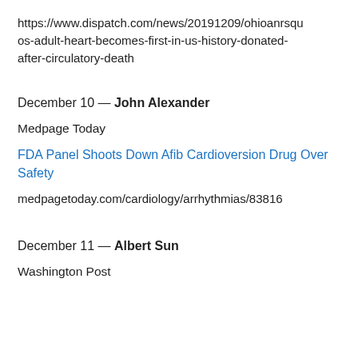https://www.dispatch.com/news/20191209/ohioanrsquos-adult-heart-becomes-first-in-us-history-donated-after-circulatory-death
December 10 — John Alexander
Medpage Today
FDA Panel Shoots Down Afib Cardioversion Drug Over Safety
medpagetoday.com/cardiology/arrhythmias/83816
December 11 — Albert Sun
Washington Post